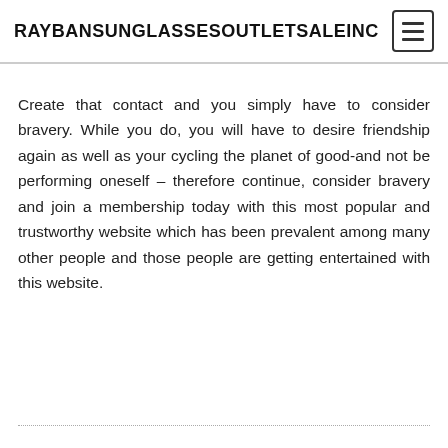RAYBANSUNGLASSESOUTLETSALEINC
Create that contact and you simply have to consider bravery. While you do, you will have to desire friendship again as well as your cycling the planet of good-and not be performing oneself – therefore continue, consider bravery and join a membership today with this most popular and trustworthy website which has been prevalent among many other people and those people are getting entertained with this website.